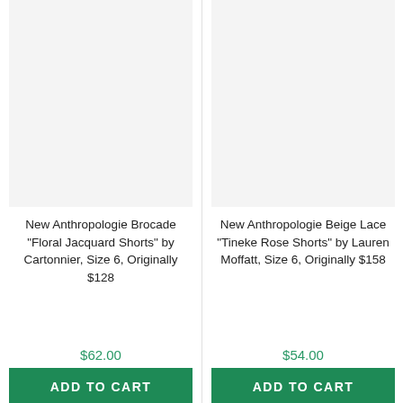[Figure (photo): Product image placeholder for Anthropologie Brocade Floral Jacquard Shorts, light gray background]
New Anthropologie Brocade "Floral Jacquard Shorts" by Cartonnier, Size 6, Originally $128
$62.00
ADD TO CART
[Figure (photo): Product image placeholder for Anthropologie Beige Lace Tineke Rose Shorts, light gray background]
New Anthropologie Beige Lace "Tineke Rose Shorts" by Lauren Moffatt, Size 6, Originally $158
$54.00
ADD TO CART